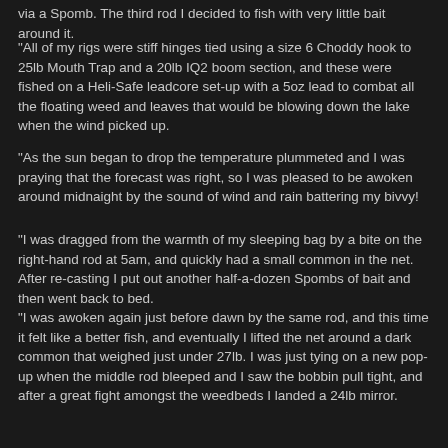via a Spomb. The third rod I decided to fish with very little bait around it.
"All of my rigs were stiff hinges tied using a size 6 Choddy hook to 25lb Mouth Trap and a 20lb IQ2 boom section, and these were fished on a Heli-Safe leadcore set-up with a 5oz lead to combat all the floating weed and leaves that would be blowing down the lake when the wind picked up.
"As the sun began to drop the temperature plummeted and I was praying that the forecast was right, so I was pleased to be awoken around midnaight by the sound of wind and rain battering my bivvy!
"I was dragged from the warmth of my sleeping bag by a bite on the right-hand rod at 5am, and quickly had a small common in the net. After re-casting I put out another half-a-dozen Spombs of bait and then went back to bed.
"I was awoken again just before dawn by the same rod, and this time it felt like a better fish, and eventually I lifted the net around a dark common that weighed just under 27lb. I was just tying on a new pop-up when the middle rod bleeped and I saw the bobbin pull tight, and after a great fight amongst the weedbeds I landed a 24lb mirror.
"Around 11am another member came round for a chat and had just walked into my swim when the middle rod pulled tight again, and once again it felt like a decent fish. It put up a great tussle in and out of the weed and then fighting deep in the margins, and I could make out a common that looked to be over 30lb.
"Eventually I slipped the net under it and could see a stunning looking common,